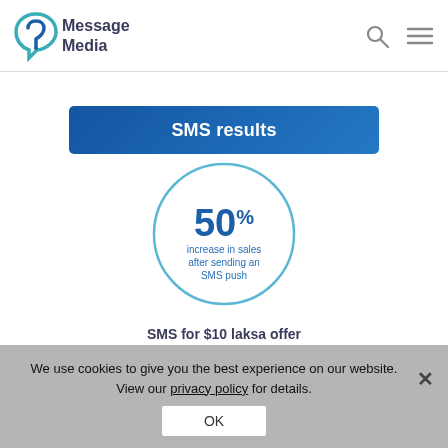[Figure (logo): MessageMedia logo with teal/green swirl icon and dark blue text reading 'Message Media']
SMS results
[Figure (infographic): Circle graphic showing '50%' in large bold blue text with smaller text below reading 'increase in sales after sending an SMS push']
SMS for $10 laksa offer
We use cookies to give you the best experience on our website. View our privacy policy for details.
OK